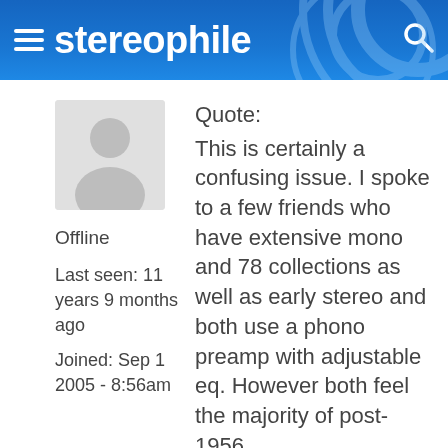stereophile
[Figure (illustration): Default user avatar placeholder showing a silhouette of a person on a light gray background]
Offline
Last seen: 11 years 9 months ago
Joined: Sep 1 2005 - 8:56am
Quote:
This is certainly a confusing issue. I spoke to a few friends who have extensive mono and 78 collections as well as early stereo and both use a phono preamp with adjustable eq. However both feel the majority of post-1956